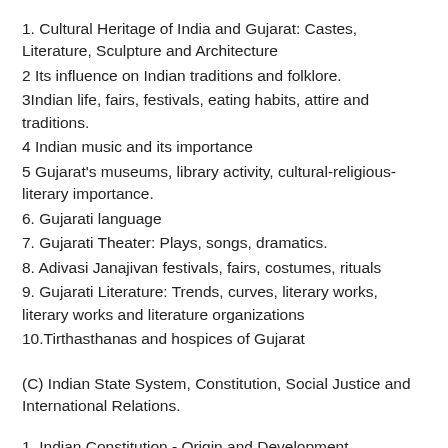1. Cultural Heritage of India and Gujarat: Castes, Literature, Sculpture and Architecture
2 Its influence on Indian traditions and folklore.
3Indian life, fairs, festivals, eating habits, attire and traditions.
4 Indian music and its importance
5 Gujarat's museums, library activity, cultural-religious-literary importance.
6. Gujarati language
7. Gujarati Theater: Plays, songs, dramatics.
8. Adivasi Janajivan festivals, fairs, costumes, rituals
9. Gujarati Literature: Trends, curves, literary works, literary works and literature organizations
10.Tirthasthanas and hospices of Gujarat
(C) Indian State System, Constitution, Social Justice and International Relations.
1. Indian Constitution - Origin and Development, Characteristics, Preferences, Fundamental Rights and